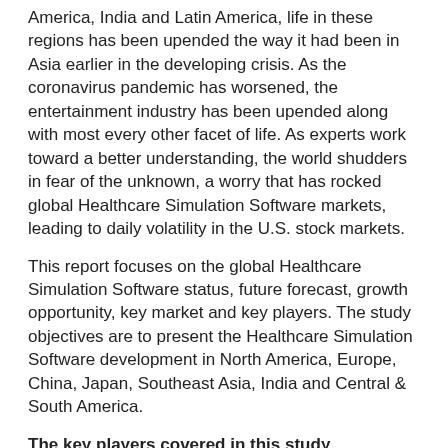America, India and Latin America, life in these regions has been upended the way it had been in Asia earlier in the developing crisis. As the coronavirus pandemic has worsened, the entertainment industry has been upended along with most every other facet of life. As experts work toward a better understanding, the world shudders in fear of the unknown, a worry that has rocked global Healthcare Simulation Software markets, leading to daily volatility in the U.S. stock markets.
This report focuses on the global Healthcare Simulation Software status, future forecast, growth opportunity, key market and key players. The study objectives are to present the Healthcare Simulation Software development in North America, Europe, China, Japan, Southeast Asia, India and Central & South America.
The key players covered in this study
The AnyLogic Company
TALUMIS
Simio LLC
CreateASoft?Inc.
TWM